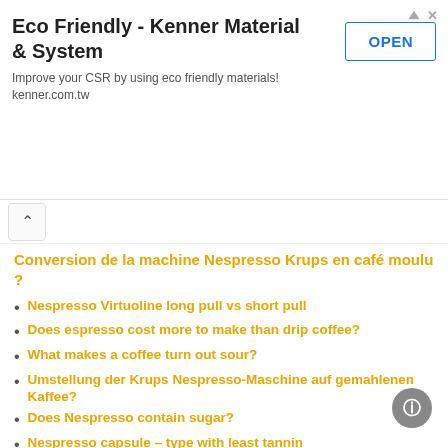[Figure (other): Advertisement banner for Eco Friendly - Kenner Material & System with OPEN button]
Conversion de la machine Nespresso Krups en café moulu ?
Nespresso Virtuoline long pull vs short pull
Does espresso cost more to make than drip coffee?
What makes a coffee turn out sour?
Umstellung der Krups Nespresso-Maschine auf gemahlenen Kaffee?
Does Nespresso contain sugar?
Nespresso capsule – type with least tannin
Is Nespresso 'real' espresso?